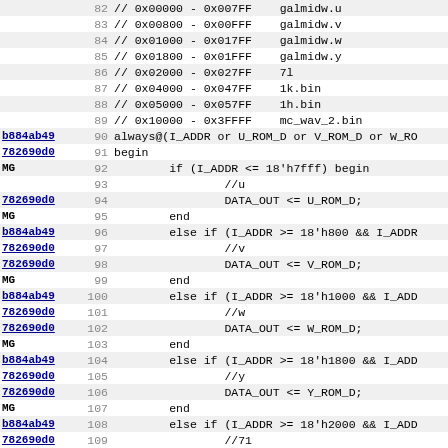Code listing lines 82-114, Verilog source with annotations
| annotation | line | code |
| --- | --- | --- |
|  | 82 | // 0x00000 - 0x007FF    galmidw.u |
|  | 83 | // 0x00800 - 0x00FFF    galmidw.v |
|  | 84 | // 0x01000 - 0x017FF    galmidw.w |
|  | 85 | // 0x01800 - 0x01FFF    galmidw.y |
|  | 86 | // 0x02000 - 0x027FF    7l |
|  | 87 | // 0x04000 - 0x047FF    1k.bin |
|  | 88 | // 0x05000 - 0x057FF    1h.bin |
|  | 89 | // 0x10000 - 0x3FFFF    mc_wav_2.bin |
| b884ab49 | 90 | always@(I_ADDR or U_ROM_D or V_ROM_D or W_RO |
| 782690d0 | 91 | begin |
| MG | 92 |         if (I_ADDR <= 18'h7fff) begin |
|  | 93 |                 //u |
| 782690d0 | 94 |                 DATA_OUT <= U_ROM_D; |
| MG | 95 |         end |
| b884ab49 | 96 |         else if (I_ADDR >= 18'h800 && I_ADDR |
| 782690d0 | 97 |                 //v |
| 782690d0 | 98 |                 DATA_OUT <= V_ROM_D; |
| MG | 99 |         end |
| b884ab49 | 100 |         else if (I_ADDR >= 18'h1000 && I_ADD |
| 782690d0 | 101 |                 //w |
| 782690d0 | 102 |                 DATA_OUT <= W_ROM_D; |
| MG | 103 |         end |
| b884ab49 | 104 |         else if (I_ADDR >= 18'h1800 && I_ADD |
| 782690d0 | 105 |                 //y |
| 782690d0 | 106 |                 DATA_OUT <= Y_ROM_D; |
| MG | 107 |         end |
| b884ab49 | 108 |         else if (I_ADDR >= 18'h2000 && I_ADD |
| 782690d0 | 109 |                 //71 |
| 782690d0 | 110 |                 DATA_OUT <= L_ROM_D; |
| MG | 111 |         end |
| b884ab49 | 112 |         else if (I_ADDR >= 18'h4000 && I_ADD |
| 782690d0 | 113 |                 //1k |
| 782690d0 | 114 |                 DATA_OUT <= K_ROM_D; |